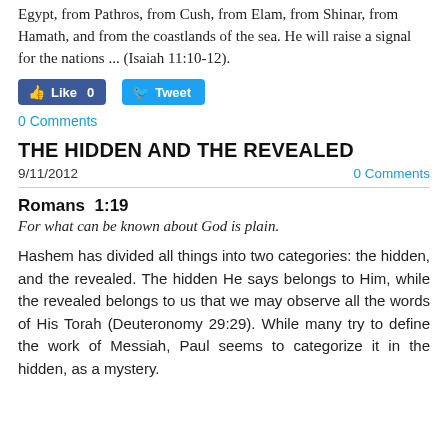Egypt, from Pathros, from Cush, from Elam, from Shinar, from Hamath, and from the coastlands of the sea. He will raise a signal for the nations ... (Isaiah 11:10-12).
[Figure (other): Social sharing buttons: Facebook Like (count 0) and Twitter Tweet]
0 Comments
THE HIDDEN AND THE REVEALED
9/11/2012   0 Comments
Romans 1:19
For what can be known about God is plain.
Hashem has divided all things into two categories: the hidden, and the revealed. The hidden He says belongs to Him, while the revealed belongs to us that we may observe all the words of His Torah (Deuteronomy 29:29). While many try to define the work of Messiah, Paul seems to categorize it in the hidden, as a mystery.